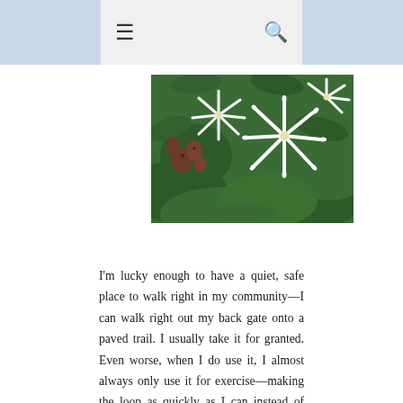≡  🔍
[Figure (photo): Close-up photo of white star-shaped flowers with narrow petals among green leaves, with some reddish-brown seed pods visible in the background.]
I'm lucky enough to have a quiet, safe place to walk right in my community—I can walk right out my back gate onto a paved trail. I usually take it for granted. Even worse, when I do use it, I almost always only use it for exercise—making the loop as quickly as I can instead of taking it slowly, exploring, noticing. As part of my focus on delight this year, I